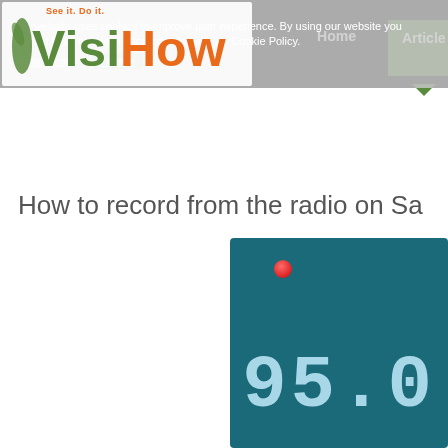[Figure (screenshot): VisiHow website header with logo showing green 'Visi' and orange 'How' text, tagline 'See it. Do it.', navigation links including Home and Articles, and a cookie consent banner overlay reading 'This website uses cookies to improve user experience. By using our website you consent to all cookies in accordance with our Cookie Policy. Read more | I agree']
How to record from the radio on Sa
[Figure (screenshot): Screenshot of a radio app interface showing a teal/dark blue background with a red recording dot indicator in the upper left and a digital frequency display showing '95.0' in light blue LCD-style digits]